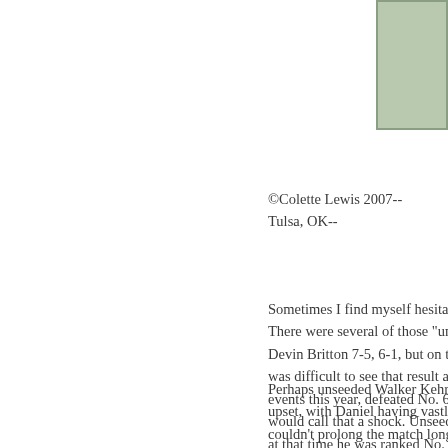[Figure (illustration): Green/sage colored rectangle in upper right corner of page]
©Colette Lewis 2007--
Tulsa, OK--
Sometimes I find myself hesitati... There were several of those "un" Devin Britton 7-5, 6-1, but on th... was difficult to see that result as ... events this year, defeated No. 6 s... would call that a shock. Unseede... at that time he was ranked No. 7 Trombetta was not exactly an un...
Perhaps unseeded Walker Kehre... upset, with Daniel having vastly ... couldn't prolong the match long e... Spencer, securing an unseeded ...